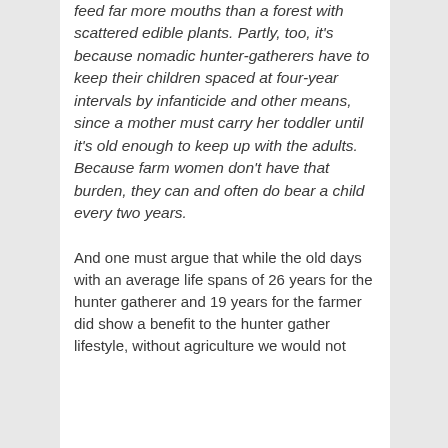feed far more mouths than a forest with scattered edible plants. Partly, too, it's because nomadic hunter-gatherers have to keep their children spaced at four-year intervals by infanticide and other means, since a mother must carry her toddler until it's old enough to keep up with the adults. Because farm women don't have that burden, they can and often do bear a child every two years.
And one must argue that while the old days with an average life spans of 26 years for the hunter gatherer and 19 years for the farmer did show a benefit to the hunter gather lifestyle, without agriculture we would not